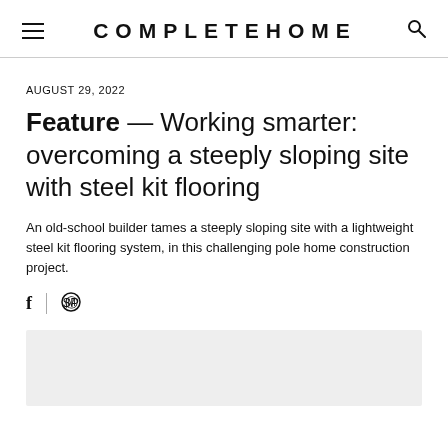COMPLETEHOME
AUGUST 29, 2022
Feature — Working smarter: overcoming a steeply sloping site with steel kit flooring
An old-school builder tames a steeply sloping site with a lightweight steel kit flooring system, in this challenging pole home construction project.
[Figure (other): Social sharing icons: Facebook (f) and Pinterest (P) buttons]
[Figure (photo): Gray placeholder image area at bottom of page]